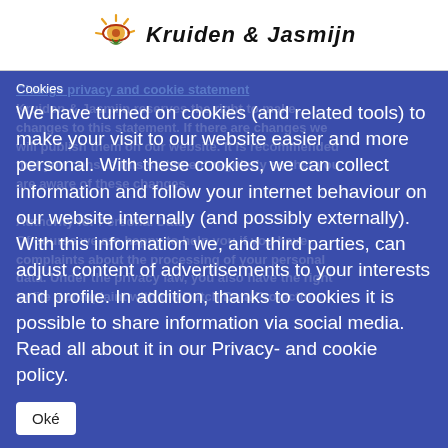[Figure (logo): Kruiden & Jasmijn logo with sun/leaf icon and handwritten text]
Cookies
We have turned on cookies (and related tools) to make your visit to our website easier and more personal. With these cookies, we can collect information and follow your internet behaviour on our website internally (and possibly externally). With this information we, and third parties, can adjust content of advertisements to your interests and profile. In addition, thanks to cookies it is possible to share information via social media. Read all about it in our Privacy- and cookie policy.